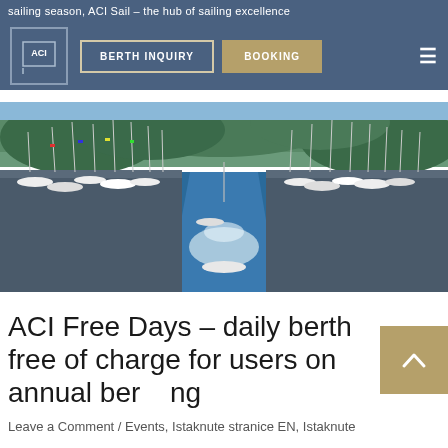sailing season, ACI Sail – the hub of sailing excellence
[Figure (screenshot): Navigation bar with ACI logo, BERTH INQUIRY button, BOOKING button, and hamburger menu on dark blue background]
[Figure (photo): Aerial drone photo of a marina packed with sailboats on both sides of a central waterway, surrounded by green forested hills. Bright sunlight reflecting off the water.]
ACI Free Days – daily berth free of charge for users on annual berthing
Leave a Comment / Events, Istaknute stranice EN, Istaknute